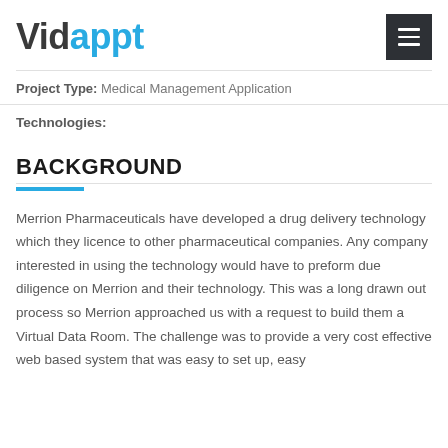Vidappt
Project Type: Medical Management Application
Technologies:
BACKGROUND
Merrion Pharmaceuticals have developed a drug delivery technology which they licence to other pharmaceutical companies. Any company interested in using the technology would have to preform due diligence on Merrion and their technology. This was a long drawn out process so Merrion approached us with a request to build them a Virtual Data Room. The challenge was to provide a very cost effective web based system that was easy to set up, easy